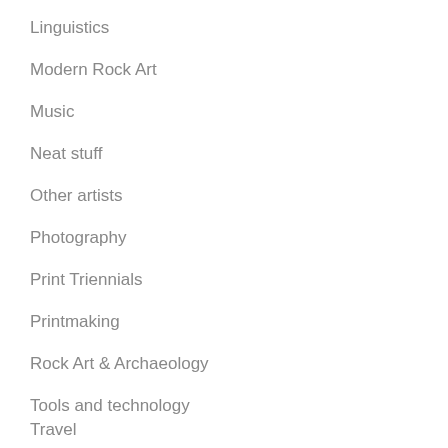Linguistics
Modern Rock Art
Music
Neat stuff
Other artists
Photography
Print Triennials
Printmaking
Rock Art & Archaeology
Tools and technology
Travel